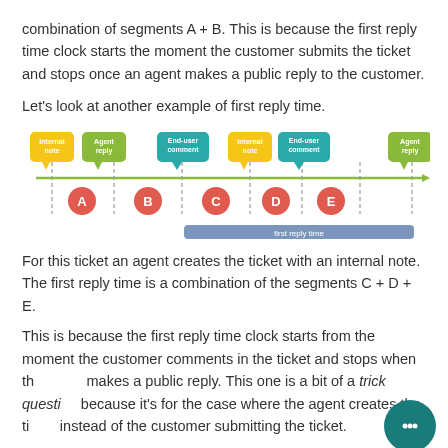combination of segments A + B. This is because the first reply time clock starts the moment the customer submits the ticket and stops once an agent makes a public reply to the customer.
Let's look at another example of first reply time.
[Figure (infographic): Timeline diagram showing events: Internal note, Agent reply, End-user comment, Internal note, End-user comment, Agent reply with circles labeled A B C D E below. A blue bar indicates 'first reply time' spanning from C to the end (Agent reply).]
For this ticket an agent creates the ticket with an internal note. The first reply time is a combination of the segments C + D + E.
This is because the first reply time clock starts from the moment the customer comments in the ticket and stops when the agent makes a public reply. This one is a bit of a trick question, because it's for the case where the agent creates the ticket instead of the customer submitting the ticket.